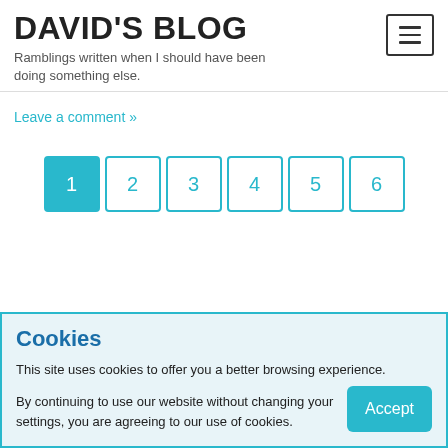DAVID'S BLOG
Ramblings written when I should have been doing something else.
Leave a comment »
[Figure (infographic): Pagination bar with 6 page buttons; page 1 is active (filled cyan), pages 2–6 have cyan border outlines]
Cookies
This site uses cookies to offer you a better browsing experience.
By continuing to use our website without changing your settings, you are agreeing to our use of cookies.